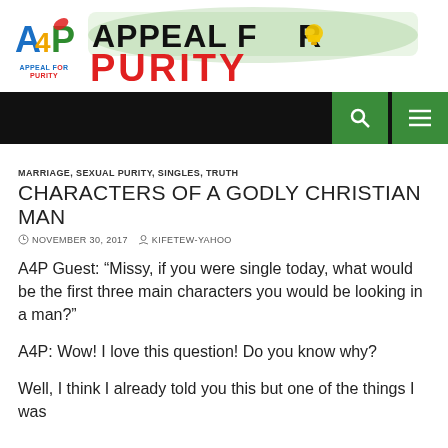[Figure (logo): Appeal for Purity logo with AFP letters in blue, green, red and small text below, plus large 'APPEAL FOR PURITY' header text with green brushstroke background]
MARRIAGE, SEXUAL PURITY, SINGLES, TRUTH
CHARACTERS OF A GODLY CHRISTIAN MAN
NOVEMBER 30, 2017   KIFETEW-YAHOO
A4P Guest: “Missy, if you were single today, what would be the first three main characters you would be looking in a man?”
A4P: Wow! I love this question! Do you know why?
Well, I think I already told you this but one of the things I was